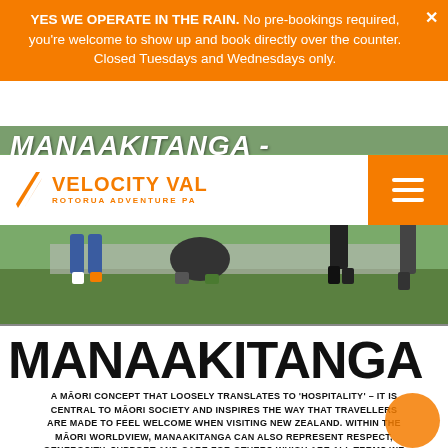YES WE OPERATE IN THE RAIN. No pre-bookings required, you're welcome to show up and book directly over the counter. Closed Tuesdays and Wednesdays only.
[Figure (screenshot): Website screenshot showing Velocity Valley Rotorua Adventure Park header with hero image of people and Manaakitanga text overlay]
MANAAKITANGA
A MĀORI CONCEPT THAT LOOSELY TRANSLATES TO 'HOSPITALITY' – IT IS CENTRAL TO MĀORI SOCIETY AND INSPIRES THE WAY THAT TRAVELLERS ARE MADE TO FEEL WELCOME WHEN VISITING NEW ZEALAND. WITHIN THE MĀORI WORLDVIEW, MANAAKITANGA CAN ALSO REPRESENT RESPECT, GENEROSITY, SUPPORT AND CARE FOR OTHERS WHICH ARE ALL TERMS WE LIVE AND WORK BY.